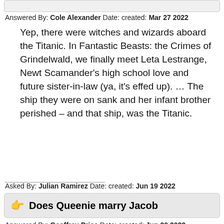Answered By: Cole Alexander Date: created: Mar 27 2022
Yep, there were witches and wizards aboard the Titanic. In Fantastic Beasts: the Crimes of Grindelwald, we finally meet Leta Lestrange, Newt Scamander's high school love and future sister-in-law (ya, it's effed up). … The ship they were on sank and her infant brother perished – and that ship, was the Titanic.
Asked By: Julian Ramirez Date: created: Jun 19 2022
Does Queenie marry Jacob
Answered By: Geoffrey Price Date: created: Jun 20 2022
While initially on the same side as her